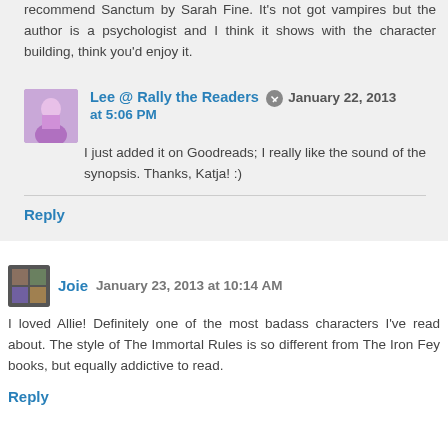recommend Sanctum by Sarah Fine. It's not got vampires but the author is a psychologist and I think it shows with the character building, think you'd enjoy it.
Lee @ Rally the Readers  January 22, 2013 at 5:06 PM
I just added it on Goodreads; I really like the sound of the synopsis. Thanks, Katja! :)
Reply
Joie  January 23, 2013 at 10:14 AM
I loved Allie! Definitely one of the most badass characters I've read about. The style of The Immortal Rules is so different from The Iron Fey books, but equally addictive to read.
Reply